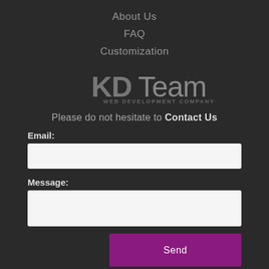About Us
FAQ
Customization
[Figure (logo): KDTeam Web Development Company logo in grey tones on dark background]
Please do not hesitate to Contact Us
Email:
Message:
Send